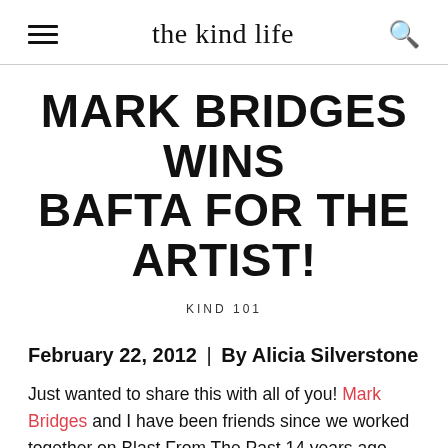the kind life
MARK BRIDGES WINS BAFTA FOR THE ARTIST!
KIND 101
February 22, 2012 | By Alicia Silverstone
Just wanted to share this with all of you! Mark Bridges and I have been friends since we worked together on Blast From The Past 14 years ago.